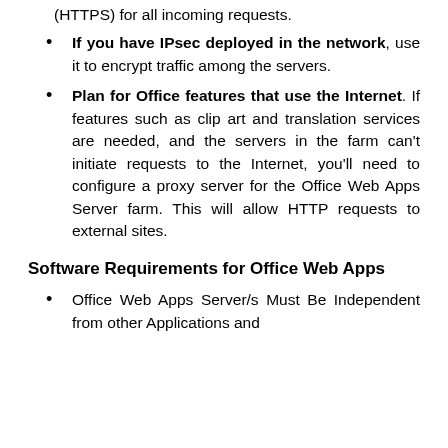(HTTPS) for all incoming requests.
If you have IPsec deployed in the network, use it to encrypt traffic among the servers.
Plan for Office features that use the Internet. If features such as clip art and translation services are needed, and the servers in the farm can't initiate requests to the Internet, you'll need to configure a proxy server for the Office Web Apps Server farm. This will allow HTTP requests to external sites.
Software Requirements for Office Web Apps
Office Web Apps Server/s Must Be Independent from other Applications and